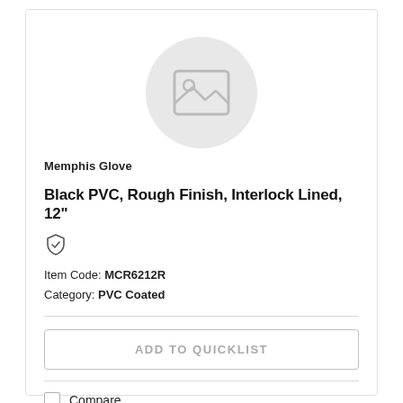[Figure (illustration): Placeholder product image: a gray circle containing a white rounded rectangle frame with a small circle (sun) and mountain shape inside, representing a missing product photo.]
Memphis Glove
Black PVC, Rough Finish, Interlock Lined, 12"
[Figure (illustration): Shield icon with a checkmark inside, indicating product certification or safety approval.]
Item Code: MCR6212R
Category: PVC Coated
ADD TO QUICKLIST
Compare